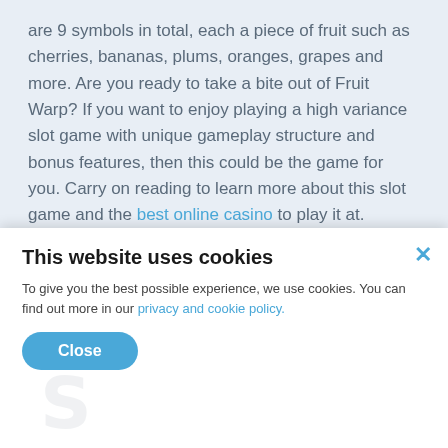are 9 symbols in total, each a piece of fruit such as cherries, bananas, plums, oranges, grapes and more. Are you ready to take a bite out of Fruit Warp? If you want to enjoy playing a high variance slot game with unique gameplay structure and bonus features, then this could be the game for you. Carry on reading to learn more about this slot game and the best online casino to play it at.
Top Rated Fruit Warp Casinos - September 2022
This website uses cookies
To give you the best possible experience, we use cookies. You can find out more in our privacy and cookie policy.